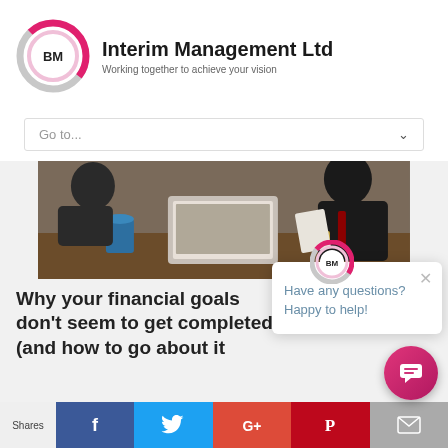[Figure (logo): BM Interim Management Ltd logo - circular pink/grey icon with BM letters]
Interim Management Ltd
Working together to achieve your vision
Go to...
[Figure (photo): Business people sitting at a table with a laptop, cups, and documents]
Why your financial goals don't seem to get completed? (and how to go about it
Have any questions? Happy to help!
Shares
[Figure (infographic): Social share bar with Facebook, Twitter, Google+, Pinterest, Email icons]